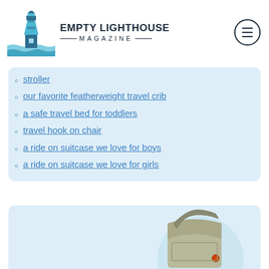EMPTY LIGHTHOUSE MAGAZINE
stroller
our favorite featherweight travel crib
a safe travel bed for toddlers
travel hook on chair
a ride on suitcase we love for boys
a ride on suitcase we love for girls
[Figure (photo): A light tan/khaki travel bag or passport holder with a shoulder strap, shown on a light blue circular background]